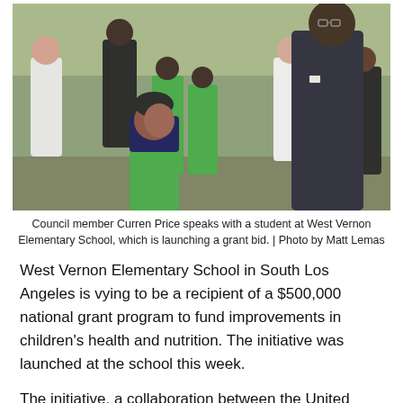[Figure (photo): Council member Curren Price speaks with a student at West Vernon Elementary School outdoors. Children in green shirts are visible along with adults in the background.]
Council member Curren Price speaks with a student at West Vernon Elementary School, which is launching a grant bid. | Photo by Matt Lemas
West Vernon Elementary School in South Los Angeles is vying to be a recipient of a $500,000 national grant program to fund improvements in children's health and nutrition. The initiative was launched at the school this week.
The initiative, a collaboration between the United Health Foundation and Whole Kids Foundation, has earmarked $25,000 for the Central and South Central region of Los Angeles.